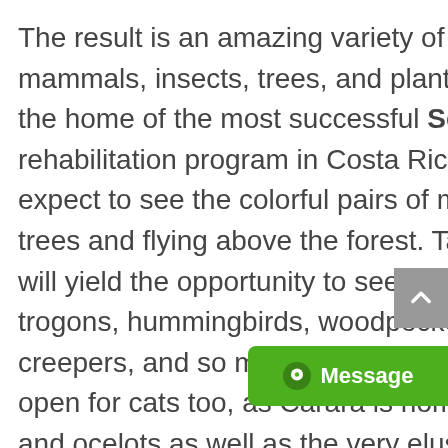The result is an amazing variety of birds, reptiles, mammals, insects, trees, and plants. Carara is the home of the most successful Scarlet Macaw rehabilitation program in Costa Rica. Visitors can expect to see the colorful pairs of macaws in the trees and flying above the forest. Taking the trails will yield the opportunity to see antbirds, raptors, trogons, hummingbirds, woodpeckers, wood creepers, and so much more. Keep your eyes open for cats too, as Carara is home to margays and ocelots as well as the very elusive jagu…
You'll arrive early with your private guide and